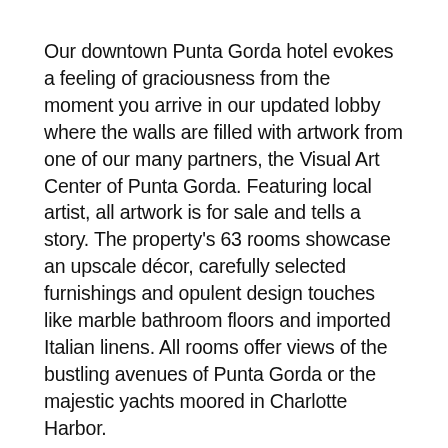Our downtown Punta Gorda hotel evokes a feeling of graciousness from the moment you arrive in our updated lobby where the walls are filled with artwork from one of our many partners, the Visual Art Center of Punta Gorda. Featuring local artist, all artwork is for sale and tells a story. The property's 63 rooms showcase an upscale décor, carefully selected furnishings and opulent design touches like marble bathroom floors and imported Italian linens. All rooms offer views of the bustling avenues of Punta Gorda or the majestic yachts moored in Charlotte Harbor.
Our unique roof deck offers a heated pool overlooking the waters of Charlotte Harbor with poolside service from Perch 360. Perch 360 strives to offer the freshest, highest- quality ingredients sourced from local suppliers, the...</text>